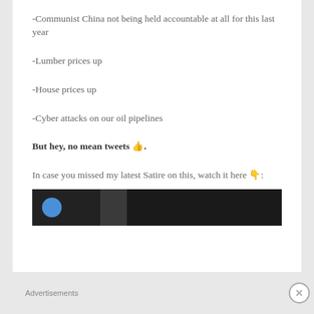-Communist China not being held accountable at all for this last year
-Lumber prices up
-House prices up
-Cyber attacks on our oil pipelines
But hey, no mean tweets 👍.
In case you missed my latest Satire on this, watch it here 👇:
[Figure (screenshot): Video thumbnail showing dark background with a blue circle avatar and a person silhouette]
Advertisements